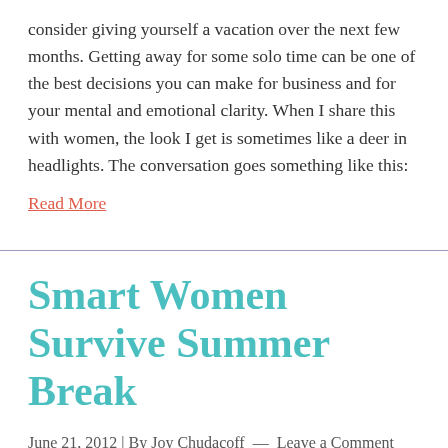consider giving yourself a vacation over the next few months. Getting away for some solo time can be one of the best decisions you can make for business and for your mental and emotional clarity. When I share this with women, the look I get is sometimes like a deer in headlights. The conversation goes something like this:
Read More
Smart Women Survive Summer Break
June 21, 2012 | By Joy Chudacoff — Leave a Comment